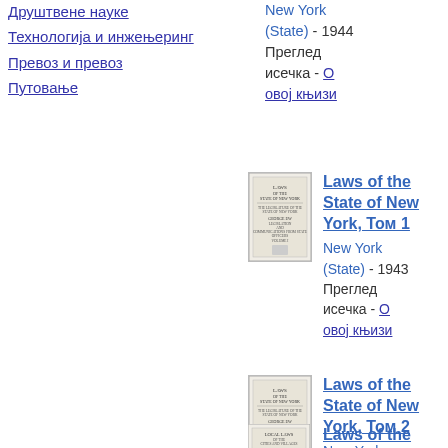Друштвене науке
Технологија и инжењеринг
Превоз и превоз
Путовање
New York (State) - 1944
Преглед исечка - О овој књизи
[Figure (illustration): Book cover thumbnail for Laws of the State of New York, Tom 1]
Laws of the State of New York, Том 1
New York (State) - 1943
Преглед исечка - О овој књизи
[Figure (illustration): Book cover thumbnail for Laws of the State of New York, Tom 2]
Laws of the State of New York, Том 2
New York (State) - 1943
Преглед исечка - О овој књизи
[Figure (illustration): Book cover thumbnail for Laws of the State...]
Laws of the